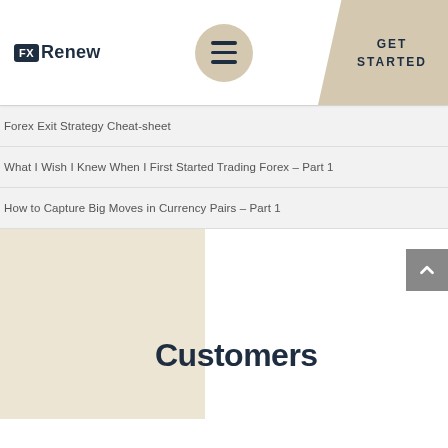FX Renew — GET STARTED
Forex Exit Strategy Cheat-sheet
What I Wish I Knew When I First Started Trading Forex – Part 1
How to Capture Big Moves in Currency Pairs – Part 1
Customers